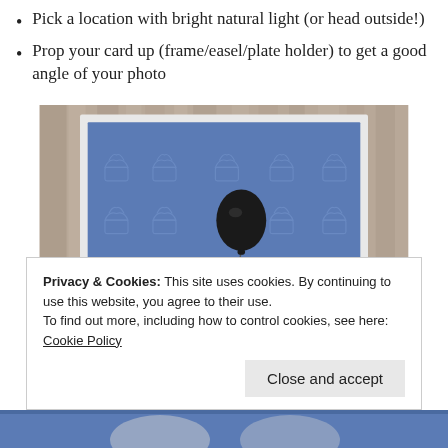Pick a location with bright natural light (or head outside!)
Prop your card up (frame/easel/plate holder) to get a good angle of your photo
[Figure (photo): A blue greeting card with embossed cupcake pattern and a cute animal character holding a black glitter balloon, propped against a wooden background]
Privacy & Cookies: This site uses cookies. By continuing to use this website, you agree to their use.
To find out more, including how to control cookies, see here: Cookie Policy
Close and accept